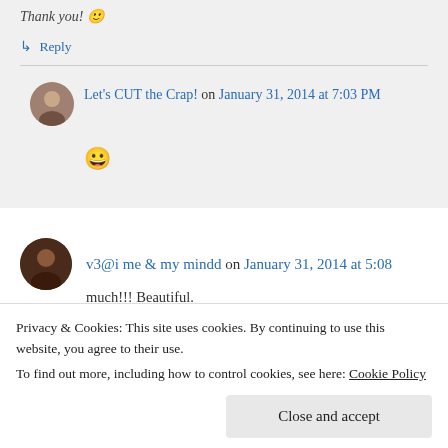Thank you! 🙂
↳ Reply
Let's CUT the Crap! on January 31, 2014 at 7:03 PM
😀
v3@i me & my mindd on January 31, 2014 at 5:08
Privacy & Cookies: This site uses cookies. By continuing to use this website, you agree to their use.
To find out more, including how to control cookies, see here: Cookie Policy
Close and accept
much!!! Beautiful.